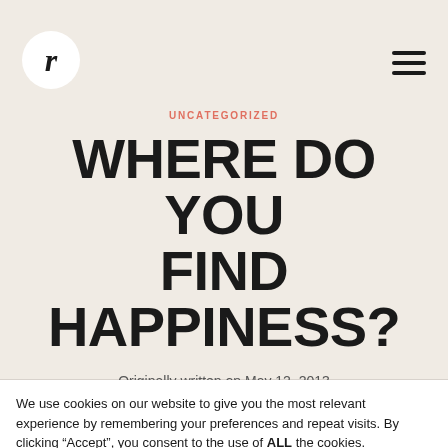r [logo] [hamburger menu]
UNCATEGORIZED
WHERE DO YOU FIND HAPPINESS?
Originally written on May 12, 2013
We use cookies on our website to give you the most relevant experience by remembering your preferences and repeat visits. By clicking “Accept”, you consent to the use of ALL the cookies.
Do not sell my personal information.